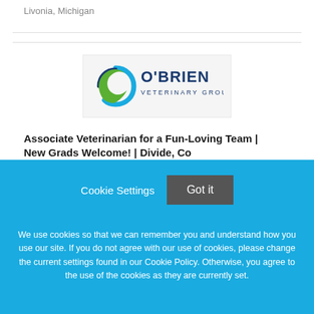Livonia, Michigan
[Figure (logo): O'Brien Veterinary Group logo — circular blue/green swoosh icon and 'O'BRIEN VETERINARY GROUP' text in dark navy blue]
Associate Veterinarian for a Fun-Loving Team | New Grads Welcome! | Divide, Co
Cookie Settings
Got it
We use cookies so that we can remember you and understand how you use our site. If you do not agree with our use of cookies, please change the current settings found in our Cookie Policy. Otherwise, you agree to the use of the cookies as they are currently set.